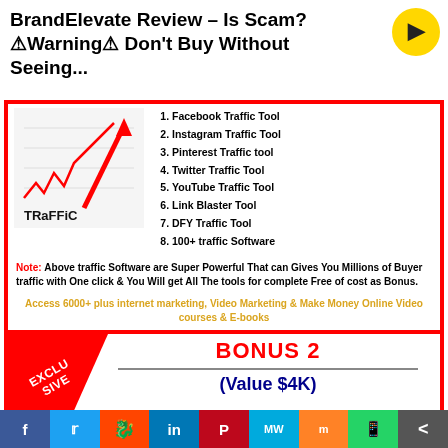BrandElevate Review – Is Scam? ⚠Warning⚠ Don't Buy Without Seeing...
[Figure (illustration): Red arrow going up over a line chart with the word TRAFFIC on the base, representing traffic growth]
1. Facebook Traffic Tool
2. Instagram Traffic Tool
3. Pinterest Traffic tool
4. Twitter Traffic Tool
5. YouTube Traffic Tool
6. Link Blaster Tool
7. DFY Traffic Tool
8. 100+ traffic Software
Note: Above traffic Software are Super Powerful That can Gives You Millions of Buyer traffic with One click & You Will get All The tools for complete Free of cost as Bonus.
Access 6000+ plus internet marketing, Video Marketing & Make Money Online Video courses & E-books
[Figure (illustration): Red exclusive banner ribbon in the corner of Bonus 2 box]
BONUS 2
(Value $4K)
Facebook | Twitter | Reddit | LinkedIn | Pinterest | MW | Mix | WhatsApp | Share